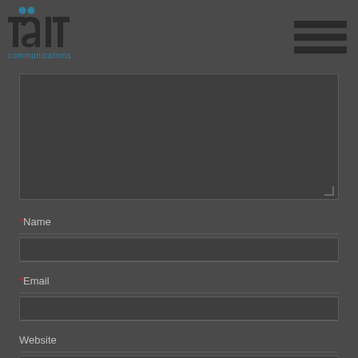tait communications
[Figure (screenshot): Tait Communications logo with hamburger menu icon in top right]
*Name
*Email
Website